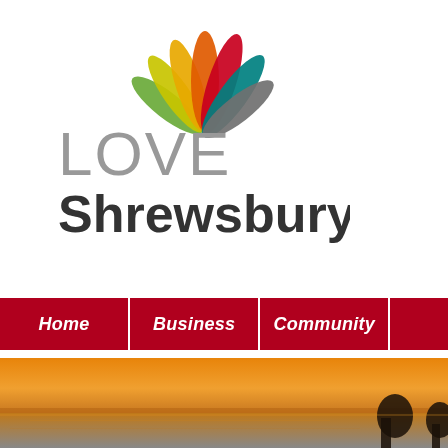[Figure (logo): Love Shrewsbury.com logo with colorful leaf/petal shapes in green, yellow, orange, red, teal, and grey arranged in a fan pattern next to the text 'LOVE Shrewsbury.com']
[Figure (other): Navigation bar with dark red background containing menu items: Home, Business, Community, and a partially visible fourth item]
[Figure (photo): Sunset photo showing silhouettes of people against an orange sky with water in the foreground]